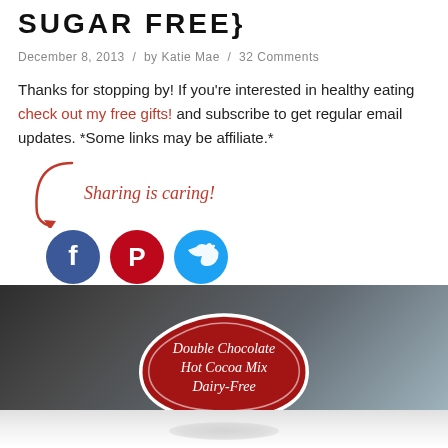SUGAR FREE}
December 8, 2013 / by Katie Mae / 32 Comments
Thanks for stopping by! If you're interested in healthy eating check out my free gifts! and subscribe to get regular email updates. *Some links may be affiliate.*
[Figure (infographic): Sharing is caring! with Facebook, Pinterest, and Twitter social share buttons]
[Figure (photo): Double Chocolate Hot Cocoa Mix Dairy-Free label on a dark blurred background]